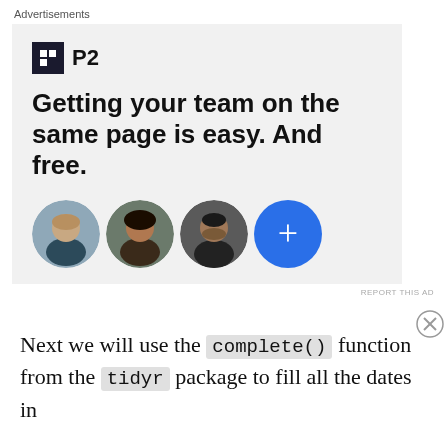Advertisements
[Figure (infographic): P2 advertisement with logo, headline 'Getting your team on the same page is easy. And free.' and three circular avatar photos plus a blue plus button]
REPORT THIS AD
Next we will use the complete() function from the tidyr package to fill all the dates in
Advertisements
[Figure (infographic): WordPress VIP banner advertisement with gradient background and Learn more button]